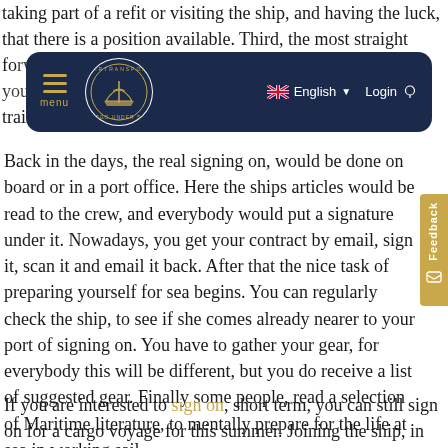taking part of a refit or visiting the ship, and having the luck, that there is a position available. Third, the most straight fo[rward way of si]gning on [is through the website, whe]re [you sign on and pay the] trainee fee.
[Figure (screenshot): Fairtransport Cargo Under Sail website navigation bar with logo, hamburger menu, English language selector with UK flag, and Login button on dark navy background]
Back in the days, the real signing on, would be done on board or in a port office. Here the ships articles would be read to the crew, and everybody would put a signature under it. Nowadays, you get your contract by email, sign it, scan it and email it back. After that the nice task of preparing yourself for sea begins. You can regularly check the ship, to see if she comes already nearer to your port of signing on. You have to gather your gear, for everybody this will be different, but you do receive a list of suggested gear. Finally some people, read a selection of Maritime literature, to mentally prepare for the life at sea in working sail.
If you are interested to sign on, short term, you can still sign on for a cargo voyage for this summer. Joining the ship, in Amsterdam, the first week of June to sail across the North sea